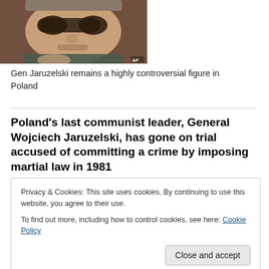[Figure (photo): Close-up photo of General Wojciech Jaruzelski wearing dark sunglasses, with AP watermark in bottom right corner]
Gen Jaruzelski remains a highly controversial figure in Poland
Poland’s last communist leader, General Wojciech Jaruzelski, has gone on trial accused of committing a crime by imposing martial law in 1981
Privacy & Cookies: This site uses cookies. By continuing to use this website, you agree to their use.
To find out more, including how to control cookies, see here: Cookie Policy
Gen Jaruzelski, who is now 84 and in poor health, says he